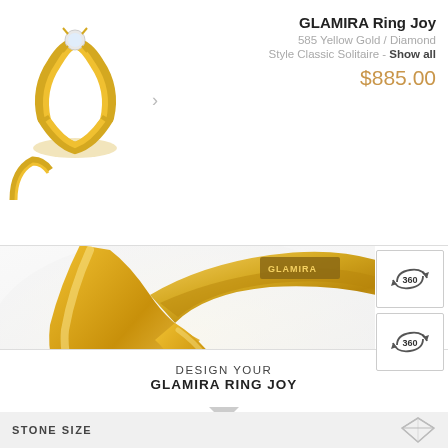GLAMIRA Ring Joy
585 Yellow Gold / Diamond
Style Classic Solitaire - Show all
$885.00
[Figure (photo): Small thumbnail image of GLAMIRA Ring Joy solitaire ring in yellow gold with diamond]
[Figure (photo): Large close-up view of GLAMIRA Ring Joy gold ring showing engraved GLAMIRA logo on band interior]
[Figure (infographic): 360 degree view button icon (circular arrow) for ring]
[Figure (infographic): Second 360 degree view button icon (circular arrow) for ring interior]
GLAMIRA Logo inside [?]
Yes  No
DESIGN YOUR GLAMIRA RING JOY
STONE SIZE